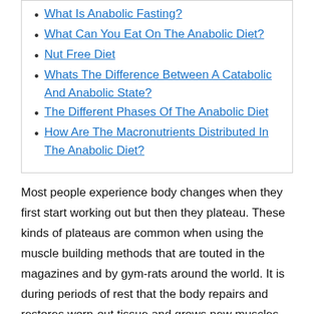What Is Anabolic Fasting?
What Can You Eat On The Anabolic Diet?
Nut Free Diet
Whats The Difference Between A Catabolic And Anabolic State?
The Different Phases Of The Anabolic Diet
How Are The Macronutrients Distributed In The Anabolic Diet?
Most people experience body changes when they first start working out but then they plateau. These kinds of plateaus are common when using the muscle building methods that are touted in the magazines and by gym-rats around the world. It is during periods of rest that the body repairs and restores worn-out tissue and grows new muscles. Not giving the body a minimum of 8 hours of sleep will hamper the anabolic process and not give the tissues the opportunity to heal from the wear and tear brought on by